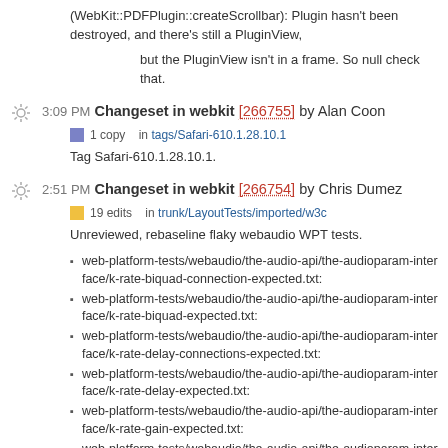(WebKit::PDFPlugin::createScrollbar): Plugin hasn't been destroyed, and there's still a PluginView,
but the PluginView isn't in a frame. So null check that.
3:09 PM Changeset in webkit [266755] by Alan Coon
1 copy   in tags/Safari-610.1.28.10.1
Tag Safari-610.1.28.10.1.
2:51 PM Changeset in webkit [266754] by Chris Dumez
19 edits   in trunk/LayoutTests/imported/w3c
Unreviewed, rebaseline flaky webaudio WPT tests.
web-platform-tests/webaudio/the-audio-api/the-audioparam-interface/k-rate-biquad-connection-expected.txt:
web-platform-tests/webaudio/the-audio-api/the-audioparam-interface/k-rate-biquad-expected.txt:
web-platform-tests/webaudio/the-audio-api/the-audioparam-interface/k-rate-delay-connections-expected.txt:
web-platform-tests/webaudio/the-audio-api/the-audioparam-interface/k-rate-delay-expected.txt:
web-platform-tests/webaudio/the-audio-api/the-audioparam-interface/k-rate-gain-expected.txt:
web-platform-tests/webaudio/the-audio-api/the-audioparam-interface/k-rate-stereo-panner-expected.txt:
web-platform-tests/webaudio/the-audio-api/the-biquadfilternode-